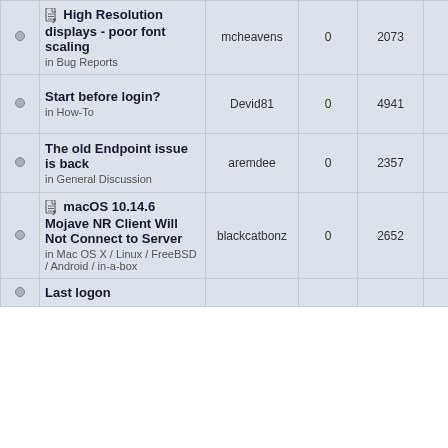|  | Topic | Author | Replies | Views | Last Post |
| --- | --- | --- | --- | --- | --- |
| • | 📎 High Resolution displays - poor font scaling
in Bug Reports | mcheavens | 0 | 2073 | Sat Au 7: mche |
| • | Start before login?
in How-To | Devid81 | 0 | 4941 | Mon Au 8:1 Dev |
| • | The old Endpoint issue is back
in General Discussion | aremdee | 0 | 2357 | Wed Ap 12 arem |
| • | 📎 macOS 10.14.6 Mojave NR Client Will Not Connect to Server
in Mac OS X / Linux / FreeBSD / Android / in-a-box | blackcatbonz | 0 | 2652 | Mon Ma 9: blackc |
| • | Last logon |  |  |  |  |